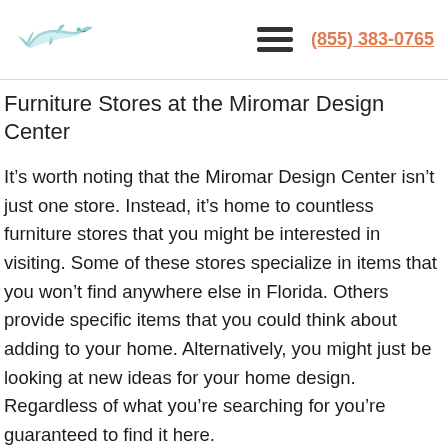(855) 383-0765
Furniture Stores at the Miromar Design Center
It’s worth noting that the Miromar Design Center isn’t just one store. Instead, it’s home to countless furniture stores that you might be interested in visiting. Some of these stores specialize in items that you won’t find anywhere else in Florida. Others provide specific items that you could think about adding to your home. Alternatively, you might just be looking at new ideas for your home design. Regardless of what you’re searching for you’re guaranteed to find it here.
Here are just some of the incredible stores that you will be